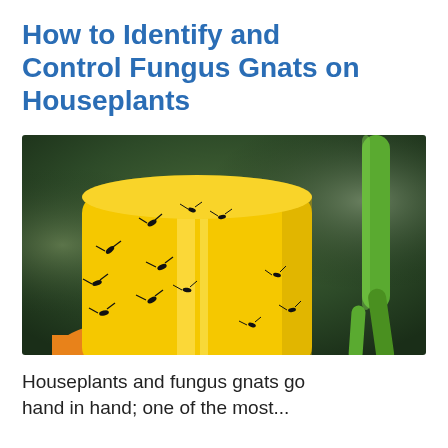How to Identify and Control Fungus Gnats on Houseplants
[Figure (photo): Close-up photo of a yellow sticky trap with multiple fungus gnats stuck to it, with a green plant stem visible in the background against a blurred dark background.]
Houseplants and fungus gnats go hand in hand; one of the most...